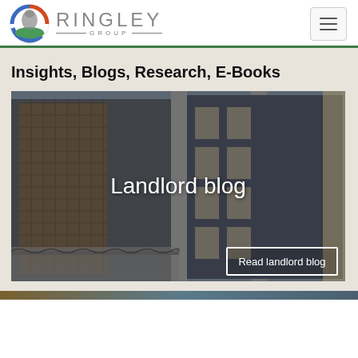Ringley Group
Insights, Blogs, Research, E-Books
[Figure (photo): Photograph of a modern multi-story building with ornate architectural details, glass facades, and decorative metal screens. Text overlay reads 'Landlord blog' with a 'Read landlord blog' button.]
[Figure (photo): Bottom strip showing partial image of another building or content card.]